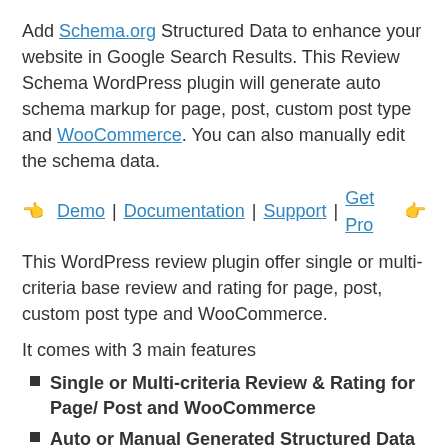Add Schema.org Structured Data to enhance your website in Google Search Results. This Review Schema WordPress plugin will generate auto schema markup for page, post, custom post type and WooCommerce. You can also manually edit the schema data.
👈 Demo | Documentation | Support | Get Pro 👉
This WordPress review plugin offer single or multi-criteria base review and rating for page, post, custom post type and WooCommerce.
It comes with 3 main features
Single or Multi-criteria Review & Rating for Page/ Post and WooCommerce
Auto or Manual Generated Structured Data Schema JSON-LD
Affiliate Marketing or Product Review